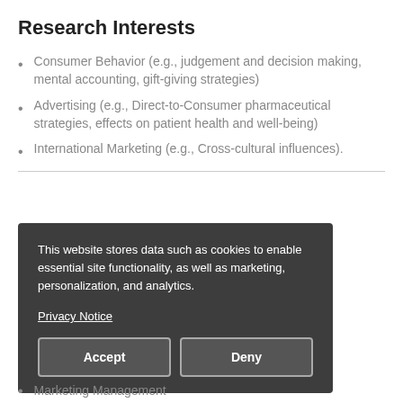Research Interests
Consumer Behavior (e.g., judgement and decision making, mental accounting, gift-giving strategies)
Advertising (e.g., Direct-to-Consumer pharmaceutical strategies, effects on patient health and well-being)
International Marketing (e.g., Cross-cultural influences).
This website stores data such as cookies to enable essential site functionality, as well as marketing, personalization, and analytics.

Privacy Notice
Marketing Management